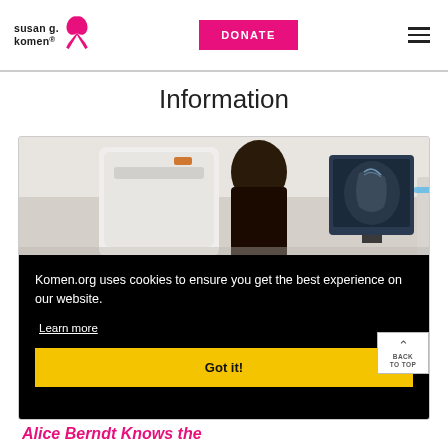[Figure (logo): Susan G. Komen logo with pink ribbon]
DONATE
Information
[Figure (photo): Medical professional viewing mammography scan on monitor with imaging equipment in background]
Komen.org uses cookies to ensure you get the best experience on our website.
Learn more
Got it!
Alice Berndt Knows the